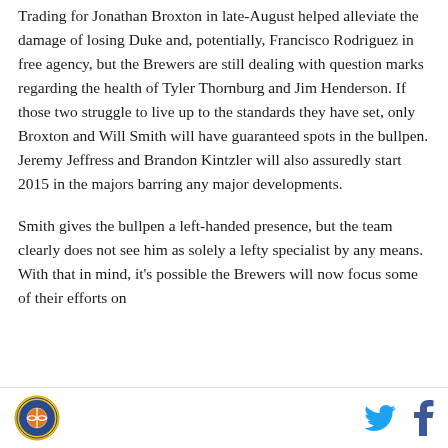Trading for Jonathan Broxton in late-August helped alleviate the damage of losing Duke and, potentially, Francisco Rodriguez in free agency, but the Brewers are still dealing with question marks regarding the health of Tyler Thornburg and Jim Henderson. If those two struggle to live up to the standards they have set, only Broxton and Will Smith will have guaranteed spots in the bullpen. Jeremy Jeffress and Brandon Kintzler will also assuredly start 2015 in the majors barring any major developments.
Smith gives the bullpen a left-handed presence, but the team clearly does not see him as solely a lefty specialist by any means. With that in mind, it's possible the Brewers will now focus some of their efforts on
[logo] [twitter] [facebook]